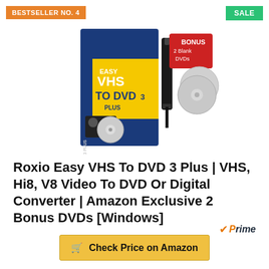BESTSELLER NO. 4
SALE
[Figure (photo): Product photo of Roxio Easy VHS To DVD 3 Plus software box with USB capture device and bonus 2 blank DVDs]
Roxio Easy VHS To DVD 3 Plus | VHS, Hi8, V8 Video To DVD Or Digital Converter | Amazon Exclusive 2 Bonus DVDs [Windows]
Prime
Check Price on Amazon